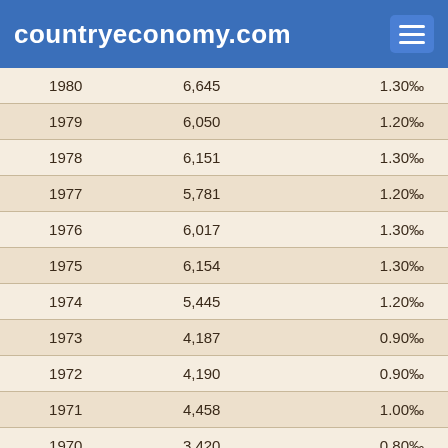countryeconomy.com
| Year | Value | Rate |
| --- | --- | --- |
| 1980 | 6,645 | 1.30‰ |
| 1979 | 6,050 | 1.20‰ |
| 1978 | 6,151 | 1.30‰ |
| 1977 | 5,781 | 1.20‰ |
| 1976 | 6,017 | 1.30‰ |
| 1975 | 6,154 | 1.30‰ |
| 1974 | 5,445 | 1.20‰ |
| 1973 | 4,187 | 0.90‰ |
| 1972 | 4,190 | 0.90‰ |
| 1971 | 4,458 | 1.00‰ |
| 1970 | 3,420 | 0.80‰ |
| 1969 | 3,386 | 0.70‰ |
| 1968 | 2,994 | 0.70‰ |
| 1967 | 2,537 | 0.60‰ |
| 1966 | 2,809 | 0.60‰ |